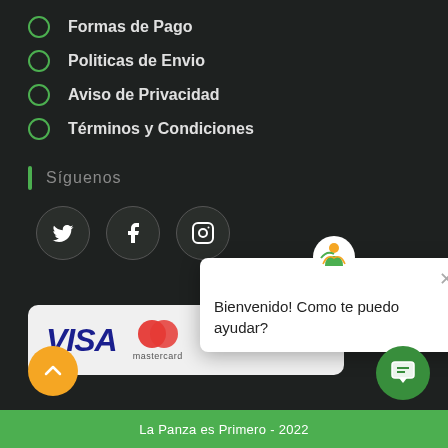Formas de Pago
Politicas de Envio
Aviso de Privacidad
Términos y Condiciones
Síguenos
[Figure (illustration): Social media icons: Twitter, Facebook, Instagram in dark circles]
[Figure (illustration): Payment card showing VISA and Mastercard logos]
[Figure (illustration): Chat popup with logo: Bienvenido! Como te puedo ayudar?]
[Figure (illustration): Orange back-to-top button and green chat button]
La Panza es Primero - 2022